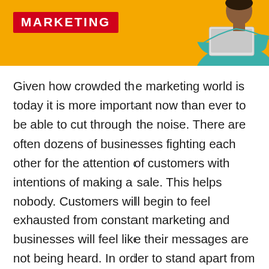[Figure (illustration): Yellow banner with red label reading 'MARKETING' in white bold uppercase letters, and a person (partial view) on the right side holding a laptop against a yellow background.]
Given how crowded the marketing world is today it is more important now than ever to be able to cut through the noise. There are often dozens of businesses fighting each other for the attention of customers with intentions of making a sale. This helps nobody. Customers will begin to feel exhausted from constant marketing and businesses will feel like their messages are not being heard. In order to stand apart from the competition, you're going to have to get creative.